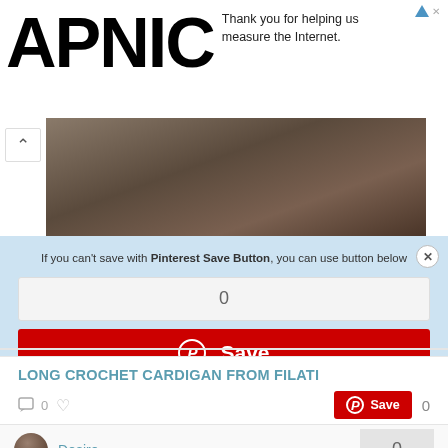APNIC
Thank you for helping us measure the Internet.
[Figure (photo): Partial photo of a person near wooden furniture]
If you can't save with Pinterest Save Button, you can use button below
0
Save
LONG CROCHET CARDIGAN FROM FILATI
0
Save  0
Desire
0